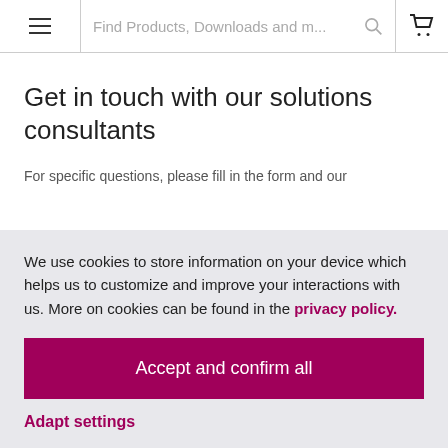Find Products, Downloads and m...
Get in touch with our solutions consultants
For specific questions, please fill in the form and our
We use cookies to store information on your device which helps us to customize and improve your interactions with us. More on cookies can be found in the privacy policy.
Accept and confirm all
Adapt settings